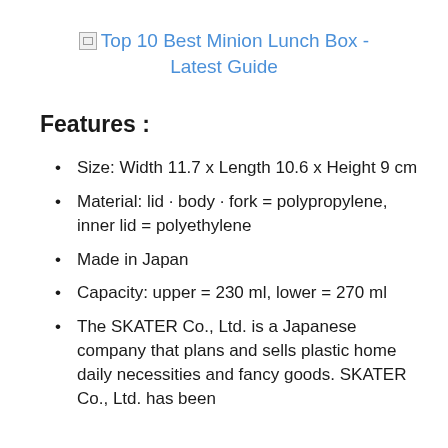[Figure (other): Broken image icon followed by hyperlink text: Top 10 Best Minion Lunch Box - Latest Guide]
Features :
Size: Width 11.7 x Length 10.6 x Height 9 cm
Material: lid · body · fork = polypropylene, inner lid = polyethylene
Made in Japan
Capacity: upper = 230 ml, lower = 270 ml
The SKATER Co., Ltd. is a Japanese company that plans and sells plastic home daily necessities and fancy goods. SKATER Co., Ltd. has been